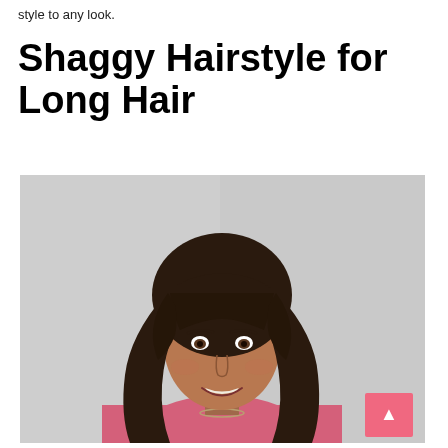style to any look.
Shaggy Hairstyle for Long Hair
[Figure (photo): Woman with dark shaggy long hair with bangs, smiling, wearing a pink sweater and necklace, against a light gray background. A pink scroll-to-top button is visible in the lower right corner of the image.]